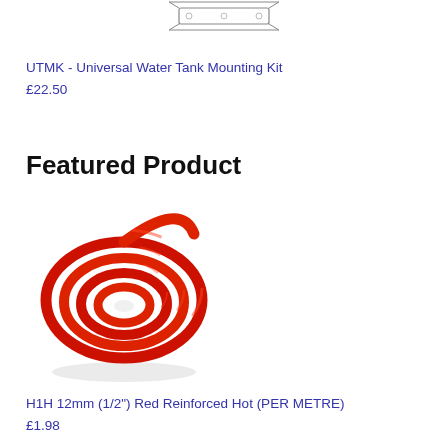[Figure (illustration): Line drawing sketch of a Universal Water Tank Mounting Kit hardware bracket]
UTMK - Universal Water Tank Mounting Kit
£22.50
Featured Product
[Figure (photo): Photo of a coiled red reinforced hose - H1H 12mm (1/2") Red Reinforced Hot (PER METRE)]
H1H 12mm (1/2") Red Reinforced Hot (PER METRE)
£1.98